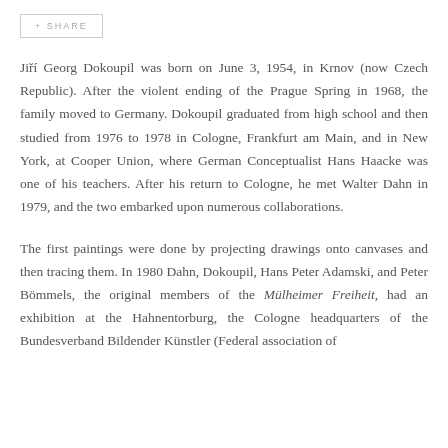+ SHARE
Jiří Georg Dokoupil was born on June 3, 1954, in Krnov (now Czech Republic). After the violent ending of the Prague Spring in 1968, the family moved to Germany. Dokoupil graduated from high school and then studied from 1976 to 1978 in Cologne, Frankfurt am Main, and in New York, at Cooper Union, where German Conceptualist Hans Haacke was one of his teachers. After his return to Cologne, he met Walter Dahn in 1979, and the two embarked upon numerous collaborations.
The first paintings were done by projecting drawings onto canvases and then tracing them. In 1980 Dahn, Dokoupil, Hans Peter Adamski, and Peter Bömmels, the original members of the Mülheimer Freiheit, had an exhibition at the Hahnentorburg, the Cologne headquarters of the Bundesverband Bildender Künstler (Federal association of